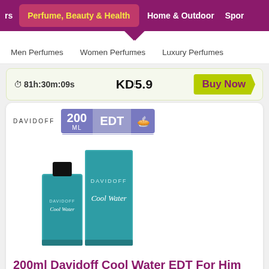rs | Perfume, Beauty & Health | Home & Outdoor | Spor
Men Perfumes   Women Perfumes   Luxury Perfumes
81h:30m:09s   KD5.9   Buy Now
[Figure (photo): Davidoff Cool Water EDT 200ml bottle and box in teal/turquoise color with brand badges showing 200 ML, EDT]
200ml Davidoff Cool Water EDT For Him
Evoke the sense of joyful and freshness with this fragrance that lasts for a long time and suits all